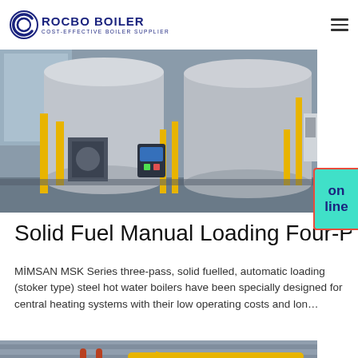ROCBO BOILER — COST-EFFECTIVE BOILER SUPPLIER
[Figure (photo): Industrial boiler equipment in a factory — large silver cylindrical boilers with yellow pipe fittings and machinery]
Solid Fuel Manual Loading Four-Pass
MİMSAN MSK Series three-pass, solid fuelled, automatic loading (stoker type) steel hot water boilers have been specially designed for central heating systems with their low operating costs and lon…
[Figure (photo): Industrial boiler room interior with large dark cylindrical boilers, yellow and copper pipes, and industrial fittings]